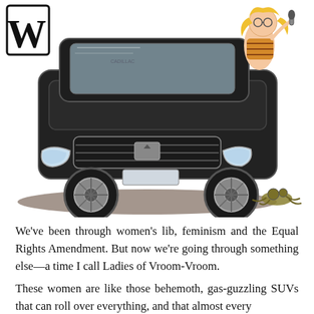SHOP   MENU
[Figure (illustration): A cartoon illustration of a large black SUV (Cadillac Escalade) with a woman with blonde hair and glasses sitting on the hood. A small creature (frog or animal) is shown being run over under the front wheel. The SUV faces forward with dramatic headlights visible.]
We've been through women's lib, feminism and the Equal Rights Amendment. But now we're going through something else—a time I call Ladies of Vroom-Vroom.
These women are like those behemoth, gas-guzzling SUVs that can roll over everything, and that almost every